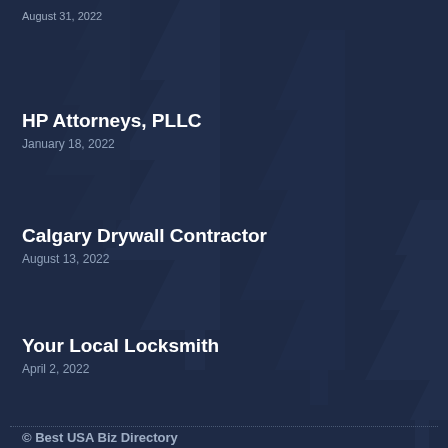August 31, 2022
HP Attorneys, PLLC
January 18, 2022
Calgary Drywall Contractor
August 13, 2022
Your Local Locksmith
April 2, 2022
© Best USA Biz Directory
Made with ❤ Citation Vault